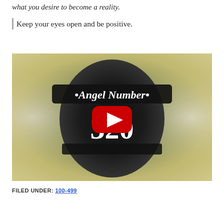what you desire to become a reality.
Keep your eyes open and be positive.
[Figure (screenshot): YouTube video thumbnail showing 'Angel Number 320' text over a mystical swirling background image with a YouTube play button overlay in the center.]
FILED UNDER: 100-499